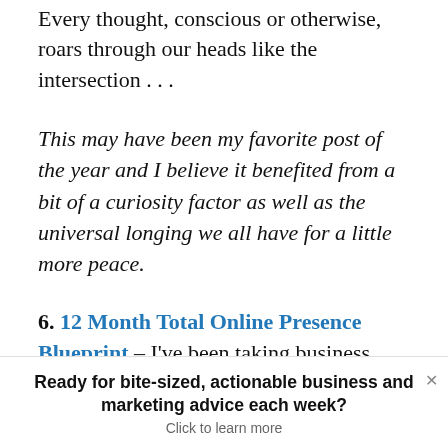Every thought, conscious or otherwise, roars through our heads like the intersection . . .
This may have been my favorite post of the year and I believe it benefited from a bit of a curiosity factor as well as the universal longing we all have for a little more peace.
6. 12 Month Total Online Presence Blueprint – I've been taking business owners through the beta of my Total Online Presence Program of late and the
Ready for bite-sized, actionable business and marketing advice each week? Click to learn more